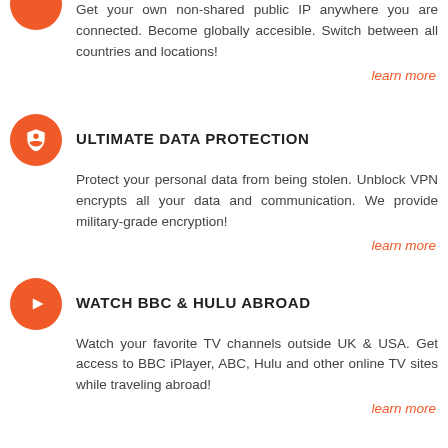[Figure (illustration): Orange circle icon partially visible at top left]
Get your own non-shared public IP anywhere you are connected. Become globally accesible. Switch between all countries and locations!
learn more
[Figure (illustration): Orange circle icon with a shield/lock symbol]
ULTIMATE DATA PROTECTION
Protect your personal data from being stolen. Unblock VPN encrypts all your data and communication. We provide military-grade encryption!
learn more
[Figure (illustration): Orange circle icon with a play button symbol]
WATCH BBC & HULU ABROAD
Watch your favorite TV channels outside UK & USA. Get access to BBC iPlayer, ABC, Hulu and other online TV sites while traveling abroad!
learn more